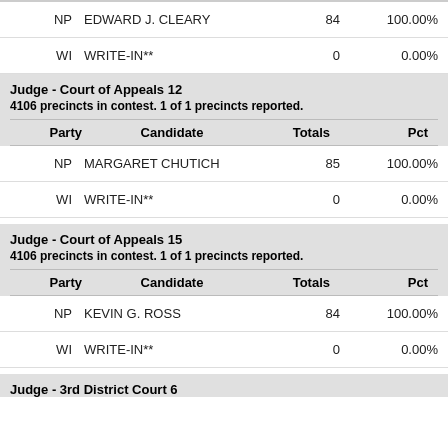| Party | Candidate | Totals | Pct |
| --- | --- | --- | --- |
| NP | EDWARD J. CLEARY | 84 | 100.00% |
| WI | WRITE-IN** | 0 | 0.00% |
Judge - Court of Appeals 12
4106 precincts in contest. 1 of 1 precincts reported.
| Party | Candidate | Totals | Pct |
| --- | --- | --- | --- |
| NP | MARGARET CHUTICH | 85 | 100.00% |
| WI | WRITE-IN** | 0 | 0.00% |
Judge - Court of Appeals 15
4106 precincts in contest. 1 of 1 precincts reported.
| Party | Candidate | Totals | Pct |
| --- | --- | --- | --- |
| NP | KEVIN G. ROSS | 84 | 100.00% |
| WI | WRITE-IN** | 0 | 0.00% |
Judge - 3rd District Court 6